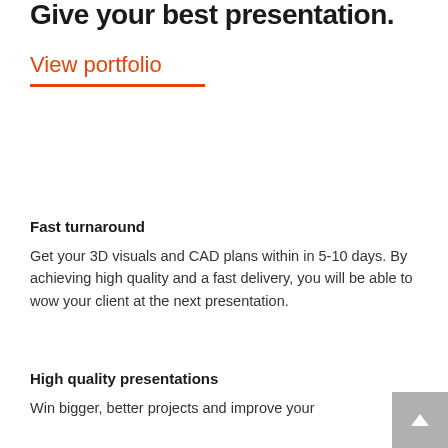Give your best presentation.
View portfolio
Fast turnaround
Get your 3D visuals and CAD plans within in 5-10 days. By achieving high quality and a fast delivery, you will be able to wow your client at the next presentation.
High quality presentations
Win bigger, better projects and improve your